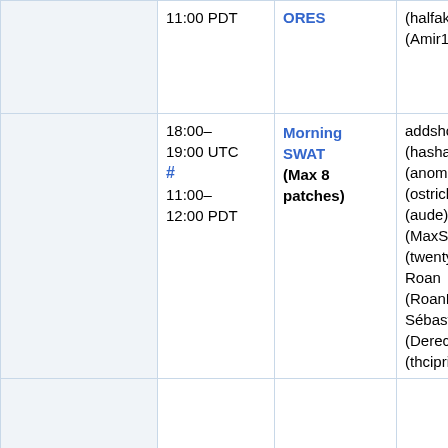| Time | Event | Participants |
| --- | --- | --- |
| 11:00 PDT | ORES | (halfak), Amir (Amir1) |
| 18:00–19:00 UTC # 11:00–12:00 PDT | Morning SWAT (Max 8 patches) | addshore, Ant (hashar), Brad (anomie), Cha (ostriches), (aude), Max (MaxSem), Muk (twentyafter), Roan (RoanKattouw), Sébastien (Dereckson), (thcipriani) |
|  |  |  |